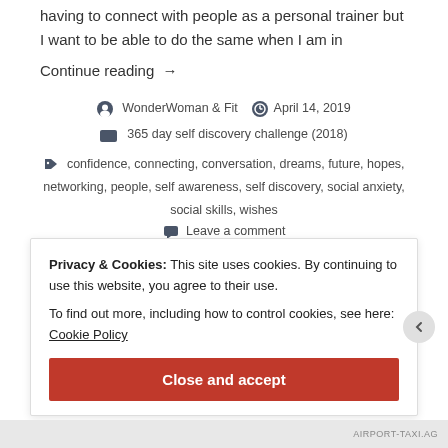having to connect with people as a personal trainer but I want to be able to do the same when I am in
Continue reading →
WonderWoman & Fit   April 14, 2019
365 day self discovery challenge (2018)
confidence, connecting, conversation, dreams, future, hopes, networking, people, self awareness, self discovery, social anxiety, social skills, wishes
Leave a comment
Privacy & Cookies: This site uses cookies. By continuing to use this website, you agree to their use.
To find out more, including how to control cookies, see here: Cookie Policy
Close and accept